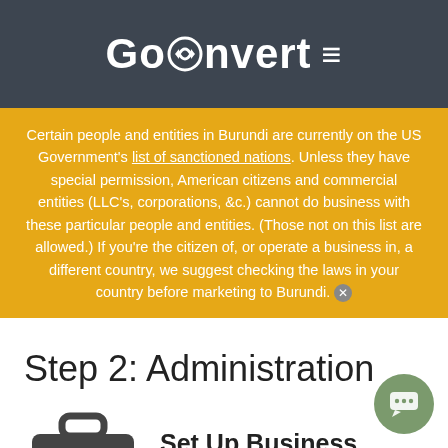GoConvert ≡
Certain people and entities in Burundi are currently on the US Government's list of sanctioned nations. Unless they have special permission, American citizens and commercial entities (LLC's, corporations, &c.) cannot do business with these particular people and entities. (Those not on this list are allowed.) If you're the citizen of, or operate a business in, a different country, we suggest checking the laws in your country before marketing to Burundi. ✕
Step 2: Administration
[Figure (illustration): Briefcase icon]
Set Up Business Entity (Optional)
You may want to create a legal entity for your business